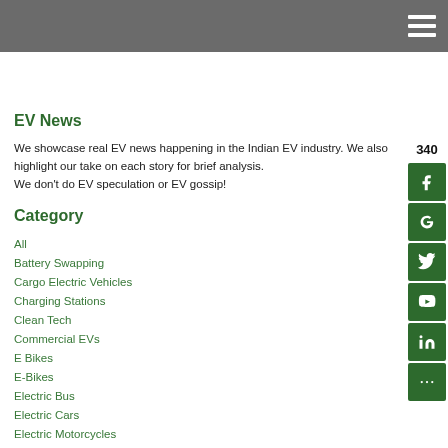340
EV News
We showcase real EV news happening in the Indian EV industry. We also highlight our take on each story for brief analysis.
We don't do EV speculation or EV gossip!
Category
All
Battery Swapping
Cargo Electric Vehicles
Charging Stations
Clean Tech
Commercial EVs
E Bikes
E-Bikes
Electric Bus
Electric Cars
Electric Motorcycles
Electric Scooters
EV Tech
Government EV Policies